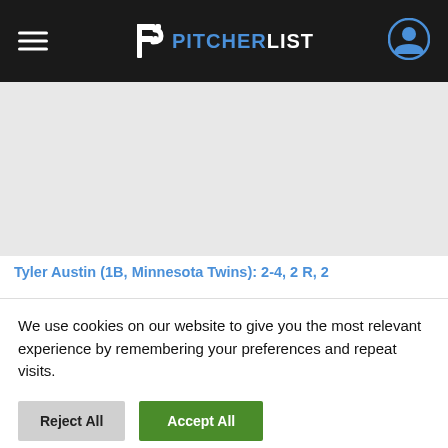PITCHERLIST
Tyler Austin (1B, Minnesota Twins): 2-4, 2 R, 2
We use cookies on our website to give you the most relevant experience by remembering your preferences and repeat visits.
Reject All | Accept All